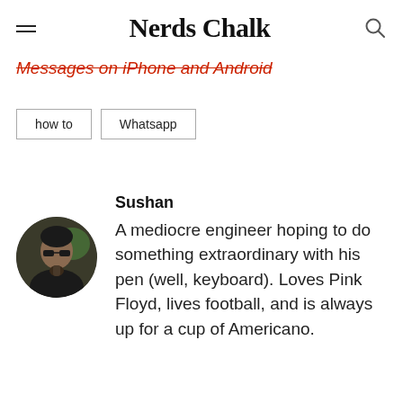Nerds Chalk
Messages on iPhone and Android
how to
Whatsapp
Sushan
A mediocre engineer hoping to do something extraordinary with his pen (well, keyboard). Loves Pink Floyd, lives football, and is always up for a cup of Americano.